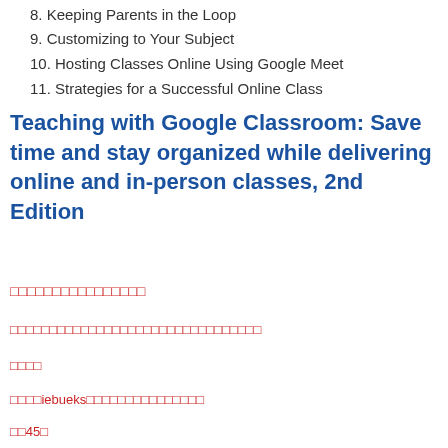8. Keeping Parents in the Loop
9. Customizing to Your Subject
10. Hosting Classes Online Using Google Meet
11. Strategies for a Successful Online Class
Teaching with Google Classroom: Save time and stay organized while delivering online and in-person classes, 2nd Edition
□□□□□□□□□□□□□□□
□□□□□□□□□□□□□□□□□□□□□□□□□□□□□□□
□□□□
□□□□iebueks□□□□□□□□□□□□□□□
□□45□